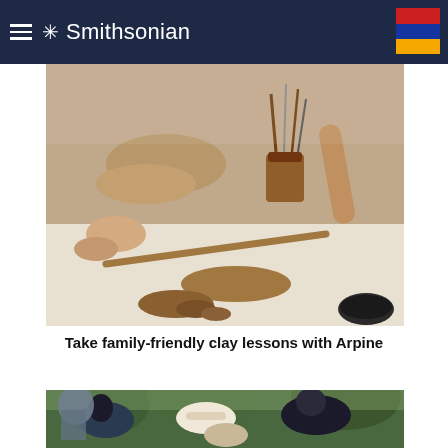Smithsonian
[Figure (photo): Close-up of hands working with clay on a table, with pottery tools including brushes in a clay cup, rolling pins, and sculpted clay pieces visible on a white work surface.]
Take family-friendly clay lessons with Arpine
[Figure (photo): Group of people including children bending over and looking at something in an outdoor wooded setting, with trees visible in the background.]